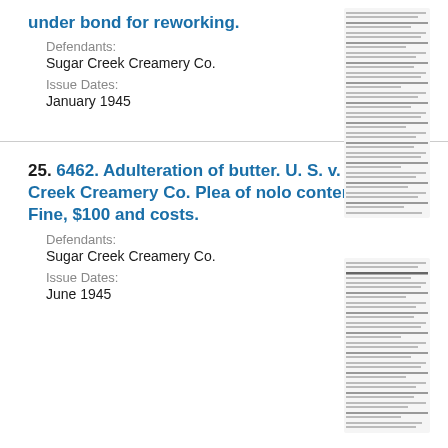under bond for reworking.
Defendants:
Sugar Creek Creamery Co.
Issue Dates:
January 1945
[Figure (other): Thumbnail image of a document page]
25. 6462. Adulteration of butter. U. S. v. Sugar Creek Creamery Co. Plea of nolo contendere. Fine, $100 and costs.
Defendants:
Sugar Creek Creamery Co.
Issue Dates:
June 1945
[Figure (other): Thumbnail image of a document page]